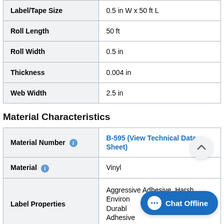| Property | Value |
| --- | --- |
| Label/Tape Size | 0.5 in W x 50 ft L |
| Roll Length | 50 ft |
| Roll Width | 0.5 in |
| Thickness | 0.004 in |
| Web Width | 2.5 in |
Material Characteristics
| Property | Value |
| --- | --- |
| Material Number | B-595 (View Technical Data Sheet) |
| Material | Vinyl |
| Label Properties | Aggressive Adhesive, Harsh Environment, Durable Adhesive |